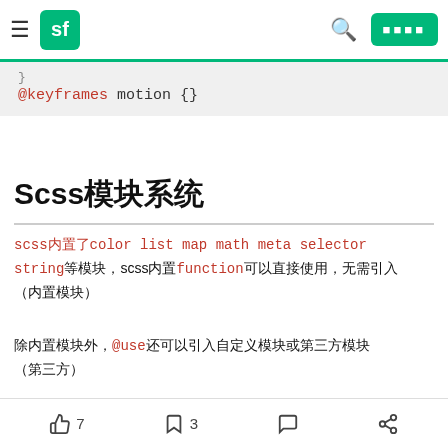sf [logo] [search] [button]
@keyframes motion {}
Scss模块系统
scss内置了color list map math meta selector string等模块，scss内置function可以直接使用，无需引入
除内置模块外，@use还可以引入自定义模块或第三方模块
@use 'sass:list';
👍 7  🔖 3  💬  share